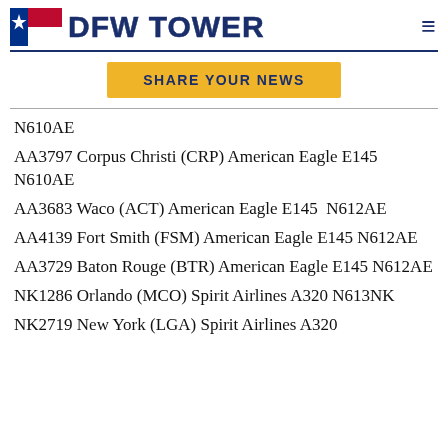[Figure (logo): DFW Tower website header with Texas flag logo and DFW TOWER text, hamburger menu icon]
[Figure (other): Yellow 'SHARE YOUR NEWS' button]
N610AE
AA3797 Corpus Christi (CRP) American Eagle E145 N610AE
AA3683 Waco (ACT) American Eagle E145  N612AE
AA4139 Fort Smith (FSM) American Eagle E145 N612AE
AA3729 Baton Rouge (BTR) American Eagle E145 N612AE
NK1286 Orlando (MCO) Spirit Airlines A320 N613NK
NK2719 New York (LGA) Spirit Airlines A320